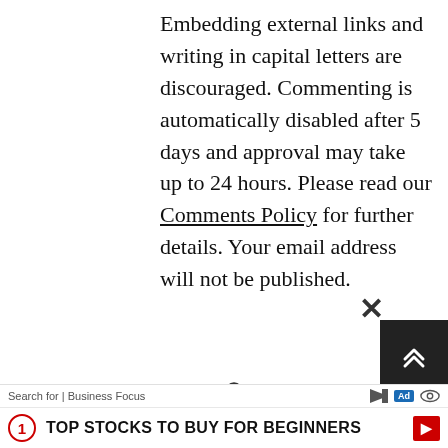Embedding external links and writing in capital letters are discouraged. Commenting is automatically disabled after 5 days and approval may take up to 24 hours. Please read our Comments Policy for further details. Your email address will not be published.
search
Search for | Business Focus
1  TOP STOCKS TO BUY FOR BEGINNERS